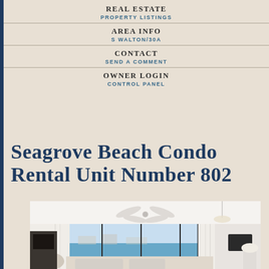REAL ESTATE
PROPERTY LISTINGS
AREA INFO
S WALTON/30A
CONTACT
SEND A COMMENT
OWNER LOGIN
CONTROL PANEL
Seagrove Beach Condo Rental Unit Number 802
[Figure (photo): Interior photo of a bright beachfront condo living room with floor-to-ceiling windows showing ocean view, white curtains, ceiling fan, modern furniture with light colors, and balcony visible.]